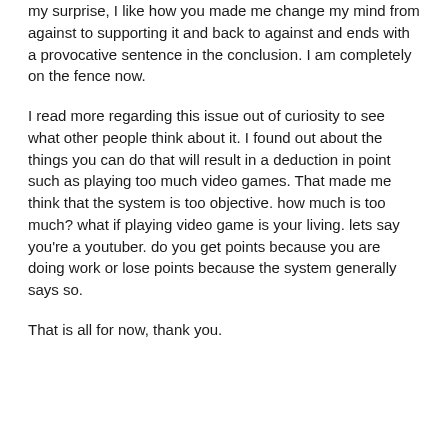my surprise, I like how you made me change my mind from against to supporting it and back to against and ends with a provocative sentence in the conclusion. I am completely on the fence now.
I read more regarding this issue out of curiosity to see what other people think about it. I found out about the things you can do that will result in a deduction in point such as playing too much video games. That made me think that the system is too objective. how much is too much? what if playing video game is your living. lets say you're a youtuber. do you get points because you are doing work or lose points because the system generally says so.
That is all for now, thank you.